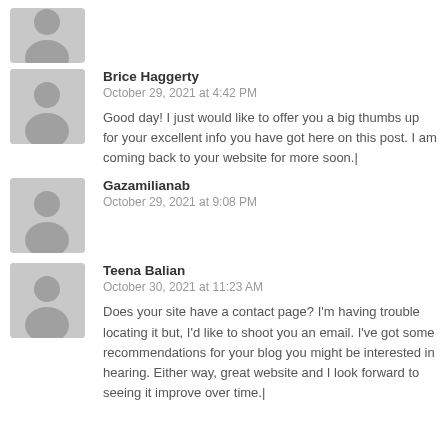[Figure (illustration): Generic user avatar placeholder (grey silhouette) at top of page]
[Figure (illustration): Generic user avatar placeholder (grey silhouette) for Brice Haggerty]
Brice Haggerty
October 29, 2021 at 4:42 PM
Good day! I just would like to offer you a big thumbs up for your excellent info you have got here on this post. I am coming back to your website for more soon.|
[Figure (illustration): Generic user avatar placeholder (grey silhouette) for Gazamilianab]
Gazamilianab
October 29, 2021 at 9:08 PM
[Figure (illustration): Generic user avatar placeholder (grey silhouette) for Teena Balian]
Teena Balian
October 30, 2021 at 11:23 AM
Does your site have a contact page? I'm having trouble locating it but, I'd like to shoot you an email. I've got some recommendations for your blog you might be interested in hearing. Either way, great website and I look forward to seeing it improve over time.|